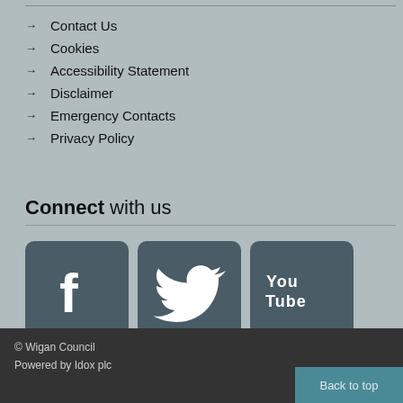→ Contact Us
→ Cookies
→ Accessibility Statement
→ Disclaimer
→ Emergency Contacts
→ Privacy Policy
Connect with us
[Figure (logo): Facebook, Twitter, and YouTube social media icon buttons in dark teal square icons]
© Wigan Council
Powered by Idox plc
Back to top